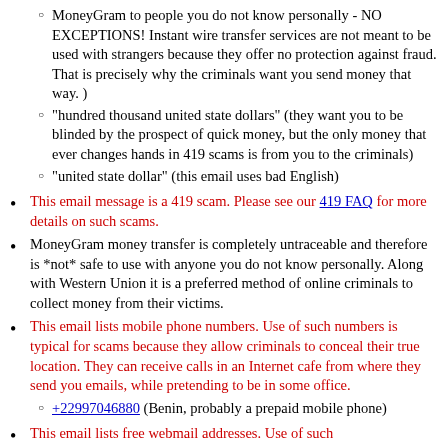MoneyGram to people you do not know personally - NO EXCEPTIONS! Instant wire transfer services are not meant to be used with strangers because they offer no protection against fraud. That is precisely why the criminals want you send money that way. )
"hundred thousand united state dollars" (they want you to be blinded by the prospect of quick money, but the only money that ever changes hands in 419 scams is from you to the criminals)
"united state dollar" (this email uses bad English)
This email message is a 419 scam. Please see our 419 FAQ for more details on such scams.
MoneyGram money transfer is completely untraceable and therefore is *not* safe to use with anyone you do not know personally. Along with Western Union it is a preferred method of online criminals to collect money from their victims.
This email lists mobile phone numbers. Use of such numbers is typical for scams because they allow criminals to conceal their true location. They can receive calls in an Internet cafe from where they send you emails, while pretending to be in some office.
+22997046880 (Benin, probably a prepaid mobile phone)
This email lists free webmail addresses. Use of such